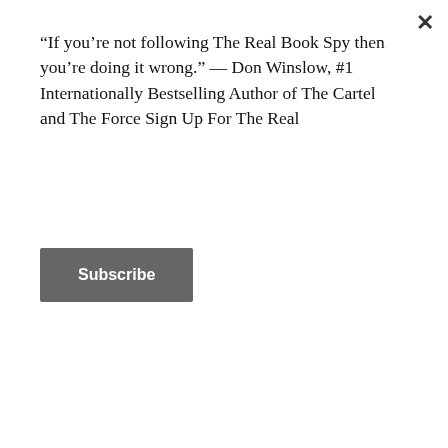“If you’re not following The Real Book Spy then you’re doing it wrong.” — Don Winslow, #1 Internationally Bestselling Author of The Cartel and The Force Sign Up For The Real
Subscribe
[Figure (photo): Book cover of 'Warning Order: A Search and Destroy Thriller' by Joshua Hood, Former 82nd Airborne. Dark blue background with soldier silhouettes and yellow title text.]
much like Brad Taylor was a few years ago. Also like Taylor, Hood relies on his own experience as a decorated combat veteran. He served in the prestigious 82nd Airborne division of the United States
Advertisements
[Figure (photo): ULTA beauty advertisement banner showing makeup products and close-up eye makeup photography with 'SHOP NOW' text.]